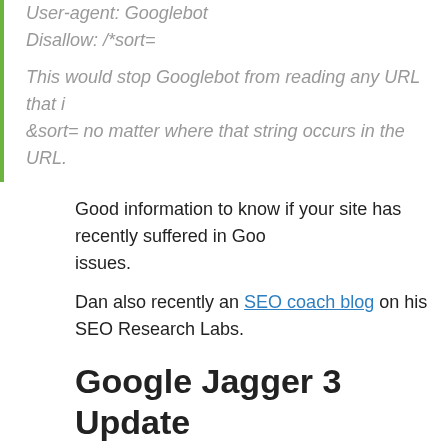User-agent: Googlebot
Disallow: /*sort=

This would stop Googlebot from reading any URL that includes &sort= no matter where that string occurs in the URL.
Good information to know if your site has recently suffered in Google issues.
Dan also recently an SEO coach blog on his SEO Research Labs.
Google Jagger 3 Update
Matt Cutts announced the Google Jagger 3 update is live at 66.10
It sure is amazing the number of large vertical sites, .edu, and .go I did. Although there will probably still be a good amount of flux me to get through ok.